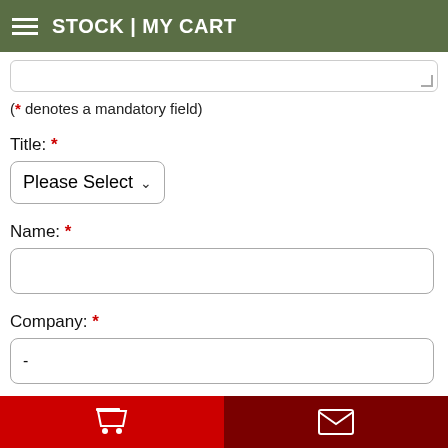STOCK | MY CART
(* denotes a mandatory field)
Title: *
Please Select
Name: *
Company: *
-
Country: *
Austria